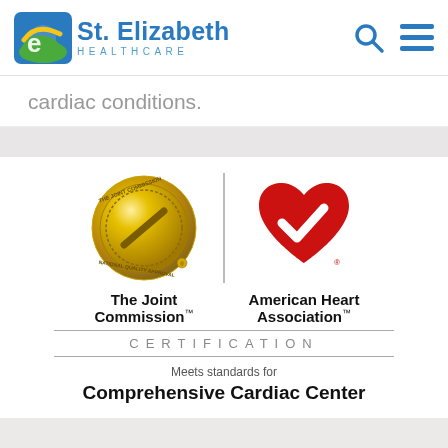[Figure (logo): St. Elizabeth Healthcare logo with search and menu icons in the page header]
cardiac conditions.
[Figure (logo): The Joint Commission gold seal certification logo and American Heart Association red heart with checkmark logo, with CERTIFICATION text, 'Meets standards for Comprehensive Cardiac Center']